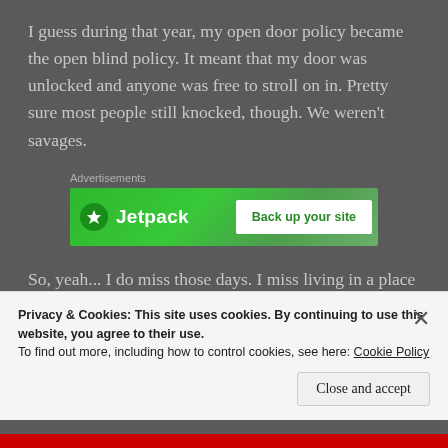I guess during that year, my open door policy became the open blind policy. It meant that my door was unlocked and anyone was free to stroll on in. Pretty sure most people still knocked, though. We weren't savages.
[Figure (other): Jetpack advertisement banner — green background with Jetpack logo on the left and 'Back up your site' white button on the right. Labeled 'Advertisements' above.]
So, yeah... I do miss those days. I miss living in a place where all of the people I'm closest to live down the hall
Privacy & Cookies: This site uses cookies. By continuing to use this website, you agree to their use.
To find out more, including how to control cookies, see here: Cookie Policy